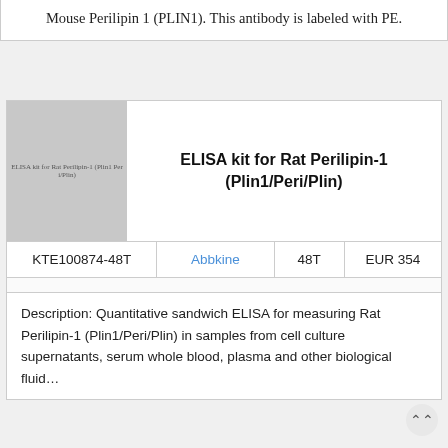Mouse Perilipin 1 (PLIN1). This antibody is labeled with PE.
[Figure (photo): Product image placeholder for ELISA kit for Rat Perilipin-1 (Plin1/Peri/Plin) showing a gray thumbnail with text label]
ELISA kit for Rat Perilipin-1 (Plin1/Peri/Plin)
|  | Brand | Size | Price |
| --- | --- | --- | --- |
| KTE100874-48T | Abbkine | 48T | EUR 354 |
Description: Quantitative sandwich ELISA for measuring Rat Perilipin-1 (Plin1/Peri/Plin) in samples from cell culture supernatants, serum whole blood, plasma and other biological fluids